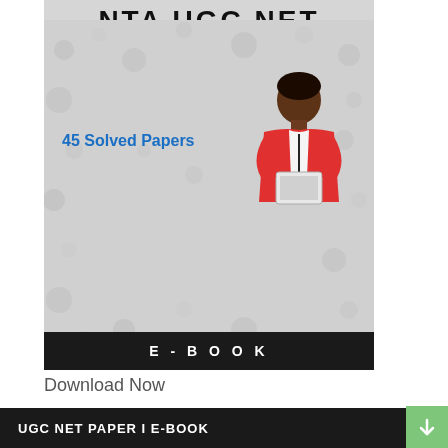[Figure (illustration): Book cover for NTA UGC NET Computer Science and Applications e-book showing 45 Solved Papers, Previous Solved Papers from 2004 to 2019, with a woman holding a tablet, on a grey dotted background with a dark bottom bar saying E-BOOK]
Download Now
UGC NET PAPER I E-BOOK